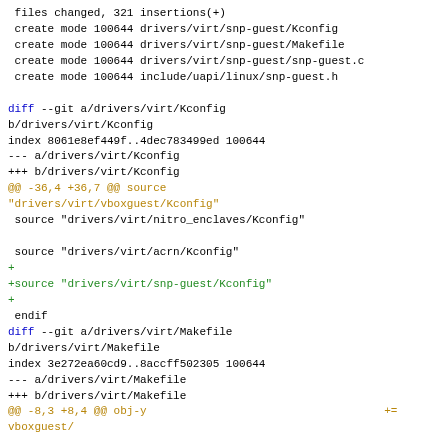6 files changed, 321 insertions(+)
 create mode 100644 drivers/virt/snp-guest/Kconfig
 create mode 100644 drivers/virt/snp-guest/Makefile
 create mode 100644 drivers/virt/snp-guest/snp-guest.c
 create mode 100644 include/uapi/linux/snp-guest.h

diff --git a/drivers/virt/Kconfig
b/drivers/virt/Kconfig
index 8061e8ef449f..4dec783499ed 100644
--- a/drivers/virt/Kconfig
+++ b/drivers/virt/Kconfig
@@ -36,4 +36,7 @@ source
"drivers/virt/vboxguest/Kconfig"
 source "drivers/virt/nitro_enclaves/Kconfig"

 source "drivers/virt/acrn/Kconfig"
+
+source "drivers/virt/snp-guest/Kconfig"
+
 endif
diff --git a/drivers/virt/Makefile
b/drivers/virt/Makefile
index 3e272ea60cd9..8accff502305 100644
--- a/drivers/virt/Makefile
+++ b/drivers/virt/Makefile
@@ -8,3 +8,4 @@ obj-y                                    +=
vboxguest/

 obj-$(CONFIG_NITRO_ENCLAVES)    += nitro_enclaves/
 obj-$(CONFIG_ACRN_HSM)          += acrn/
+obj-$(CONFIG_SNP_GUEST)                          += snp-guest/